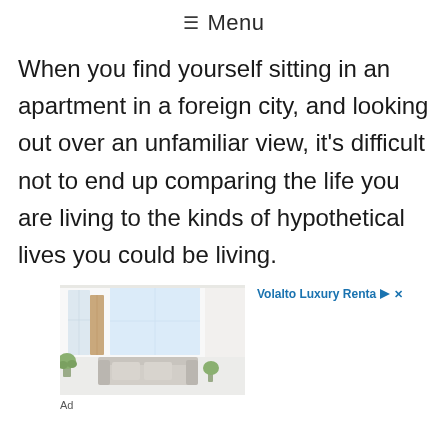≡ Menu
When you find yourself sitting in an apartment in a foreign city, and looking out over an unfamiliar view, it's difficult not to end up comparing the life you are living to the kinds of hypothetical lives you could be living.
[Figure (photo): Advertisement showing a bright, modern luxury apartment interior with white walls, high ceilings, and a light grey sofa. Ad label: Volalto Luxury Rentals]
Ad